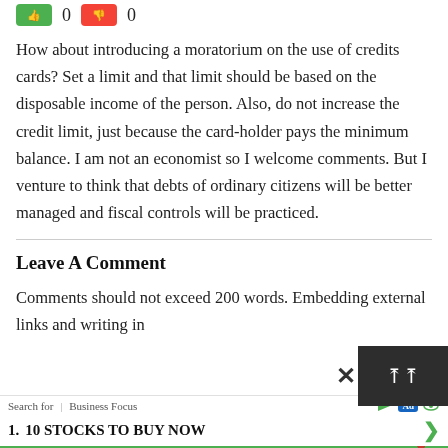[Figure (other): Green thumbs-up button with count 0 and red thumbs-down button with count 0]
How about introducing a moratorium on the use of credits cards? Set a limit and that limit should be based on the disposable income of the person. Also, do not increase the credit limit, just because the card-holder pays the minimum balance. I am not an economist so I welcome comments. But I venture to think that debts of ordinary citizens will be better managed and fiscal controls will be practiced.
Leave A Comment
Comments should not exceed 200 words. Embedding external links and writing in
[Figure (screenshot): Advertisement overlay showing 'Search for | Business Focus' with ad icons and '1. 10 STOCKS TO BUY NOW' listing with green arrow and red down arrow, plus dark close/collapse button]